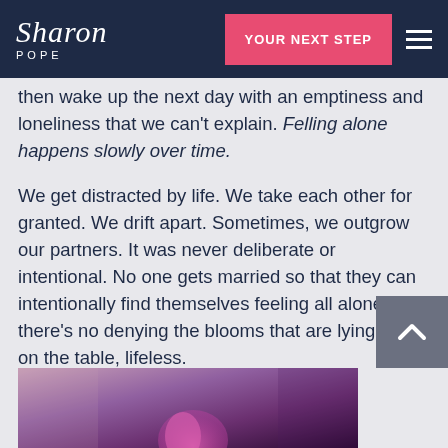Sharon Pope — YOUR NEXT STEP
then wake up the next day with an emptiness and loneliness that we can't explain. Felling alone happens slowly over time.
We get distracted by life. We take each other for granted. We drift apart. Sometimes, we outgrow our partners. It was never deliberate or intentional. No one gets married so that they can intentionally find themselves feeling all alone. But there's no denying the blooms that are lying there on the table, lifeless.
[Figure (photo): Photo of a person, partially visible at the bottom of the page, with pink/purple tones]